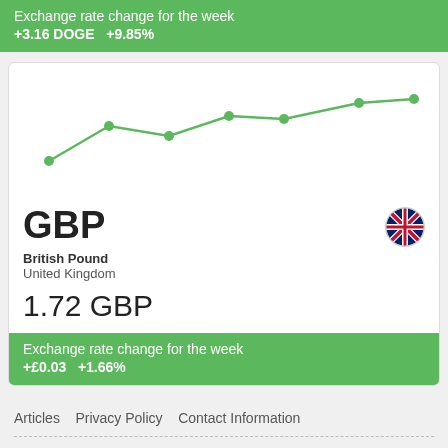Exchange rate change for the week
+3.16 DOGE   +9.85%
[Figure (line-chart): Exchange rate trend (weekly)]
GBP
British Pound
United Kingdom
1.72 GBP
Exchange rate change for the week
+£0.03   +1.66%
Articles   Privacy Policy   Contact Information
© 2013–2022 Exchangerate.guru